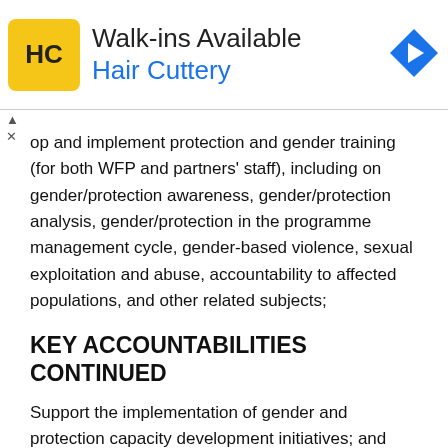[Figure (other): Advertisement banner for Hair Cuttery showing logo, 'Walk-ins Available' text, and a blue navigation arrow icon]
op and implement protection and gender training (for both WFP and partners' staff), including on gender/protection awareness, gender/protection analysis, gender/protection in the programme management cycle, gender-based violence, sexual exploitation and abuse, accountability to affected populations, and other related subjects;
KEY ACCOUNTABILITIES CONTINUED
Support the implementation of gender and protection capacity development initiatives; and
Strengthen the capacities of the Country Officer Gender Results Network members.
Represent WFP in interagency working groups as well as in other fora, and ensure WFP's engagement and contribution; and
Liaise with the Regional Gender and Protection Advisers, Country Office Gender Results Network members, Country Office Gender ...